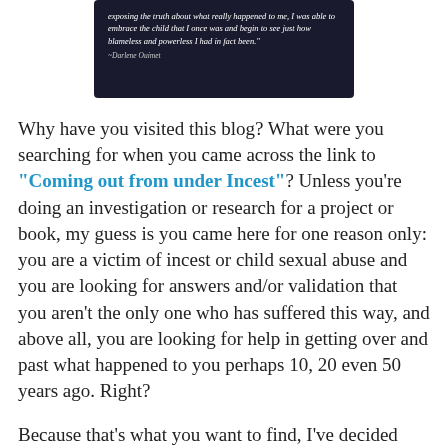[Figure (photo): Dark background image with white italic quote text: 'exposing the truth about what really happened to me, I was able to embrace the child that I once was and begin to see just how blameless and powerless I had in fact been.' —Darlene Ouimet]
Why have you visited this blog? What were you searching for when you came across the link to "Coming out from under Incest"? Unless you're doing an investigation or research for a project or book, my guess is you came here for one reason only: you are a victim of incest or child sexual abuse and you are looking for answers and/or validation that you aren't the only one who has suffered this way, and above all, you are looking for help in getting over and past what happened to you perhaps 10, 20 even 50 years ago. Right?
Because that's what you want to find, I've decided today to share with you information from one of the best books I've ever come across to help people like you and me: It's "Emerging from Broken", by Darlene Ouimet, a fellow Canadian, a victim of child sexual abuse, and today a certified professional coach specializing in life transitions. She has a private practice and a massive following on her blog of the same name, "Emerging from Broken"